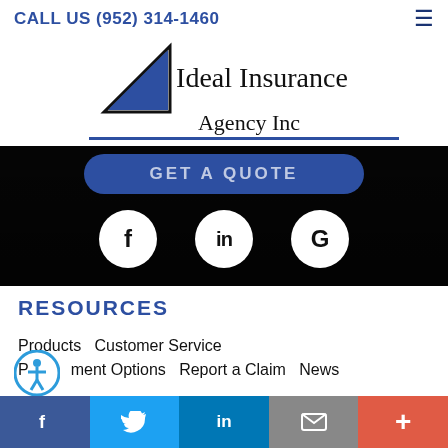CALL US (952) 314-1460
[Figure (logo): Ideal Insurance Agency Inc logo with blue triangle and company name]
[Figure (infographic): Dark banner with blue rounded GET A QUOTE button and three white circular social icons: Facebook (f), LinkedIn (in), Google (G)]
RESOURCES
Products  Customer Service
Payment Options  Report a Claim  News
[Figure (infographic): Bottom social sharing bar with Facebook (blue), Twitter (light blue), LinkedIn (dark blue), Email (gray), Plus (orange-red) buttons]